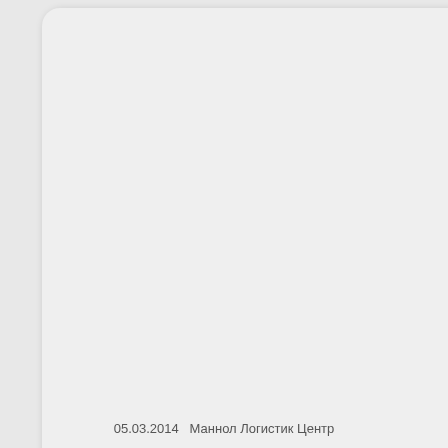copper, sta
cars — up
engines —
Meets D3306/D CUNA NO B49-A | G Trucks D MB 325.
05.03.2014  Маннол Логистик Центр